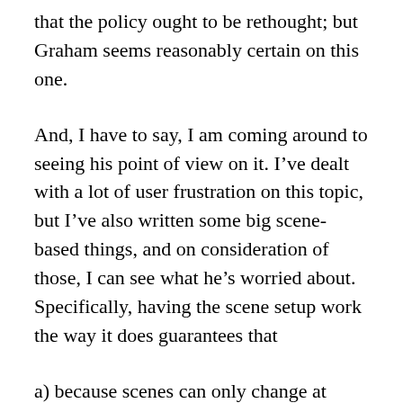that the policy ought to be rethought; but Graham seems reasonably certain on this one.
And, I have to say, I am coming around to seeing his point of view on it. I've dealt with a lot of user frustration on this topic, but I've also written some big scene-based things, and on consideration of those, I can see what he's worried about. Specifically, having the scene setup work the way it does guarantees that
a) because scenes can only change at certain points in a turn, it is impossible to develop certain kinds of bugs and clashes that would otherwise arise (say, if an action terminates a scene partway through the action being